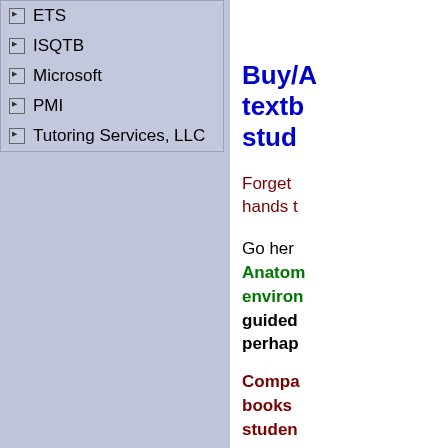ETS
ISQTB
Microsoft
PMI
Tutoring Services, LLC
Buy/A textb stud
Forget hands t
Go her Anatom environ guided perhap
Compa books studen expens